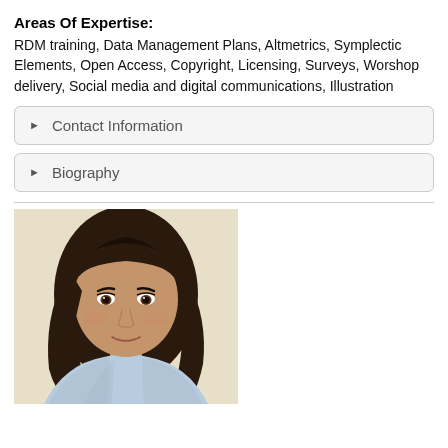Areas Of Expertise:
RDM training, Data Management Plans, Altmetrics, Symplectic Elements, Open Access, Copyright, Licensing, Surveys, Worshop delivery, Social media and digital communications, Illustration
▶ Contact Information
▶ Biography
[Figure (photo): Portrait photo of a young woman with long dark brown hair, wearing a light blue striped shirt, photographed against a light beige/cream background.]